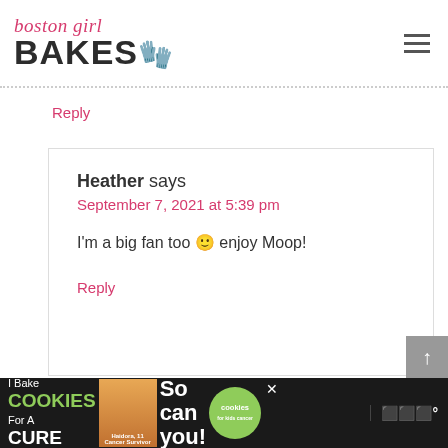[Figure (logo): Boston Girl Bakes logo with script text and oven mitt graphic]
Reply
Heather says
September 7, 2021 at 5:39 pm

I'm a big fan too 🙂 enjoy Moop!
Reply
[Figure (infographic): I Bake Cookies For A Cure advertisement banner with girl photo and green cookies logo]